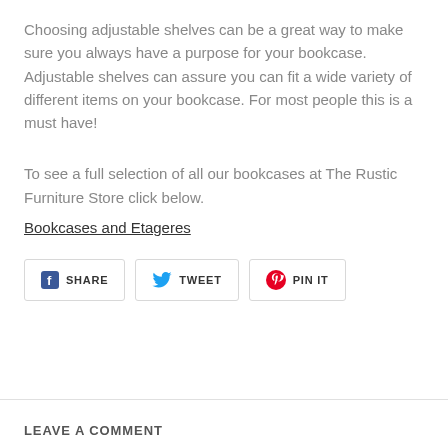Choosing adjustable shelves can be a great way to make sure you always have a purpose for your bookcase. Adjustable shelves can assure you can fit a wide variety of different items on your bookcase. For most people this is a must have!
To see a full selection of all our bookcases at The Rustic Furniture Store click below.
Bookcases and Etageres
[Figure (other): Social sharing buttons: SHARE (Facebook), TWEET (Twitter), PIN IT (Pinterest)]
LEAVE A COMMENT